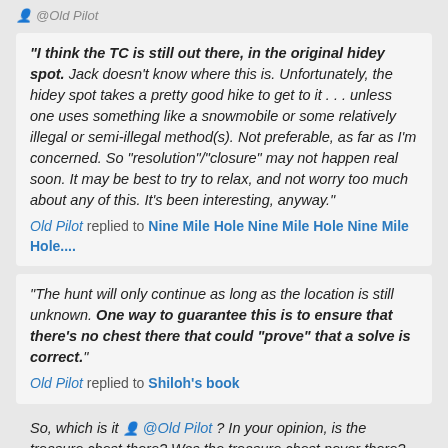@Old Pilot
"I think the TC is still out there, in the original hidey spot. Jack doesn't know where this is. Unfortunately, the hidey spot takes a pretty good hike to get to it . . . unless one uses something like a snowmobile or some relatively illegal or semi-illegal method(s). Not preferable, as far as I'm concerned. So "resolution"/"closure" may not happen real soon. It may be best to try to relax, and not worry too much about any of this. It's been interesting, anyway."
Old Pilot replied to Nine Mile Hole Nine Mile Hole Nine Mile Hole....
"The hunt will only continue as long as the location is still unknown. One way to guarantee this is to ensure that there's no chest there that could "prove" that a solve is correct."
Old Pilot replied to Shiloh's book
So, which is it @Old Pilot ? In your opinion, is the treasure chest there? Was the treasure chest never there?